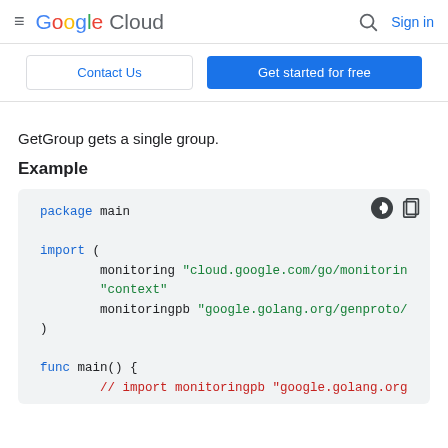Google Cloud  Sign in
Contact Us  Get started for free
GetGroup gets a single group.
Example
package main

import (
	monitoring "cloud.google.com/go/monitorin
	"context"
	monitoringpb "google.golang.org/genproto/
)

func main() {
	// import monitoringpb "google.golang.org